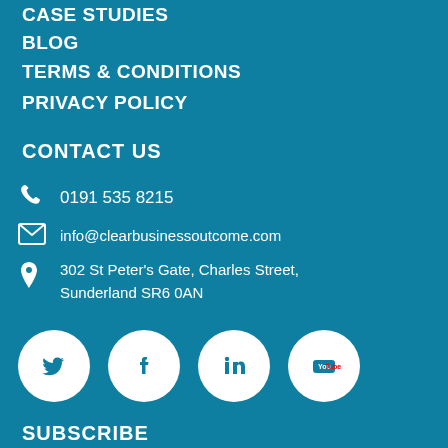CASE STUDIES
BLOG
TERMS & CONDITIONS
PRIVACY POLICY
CONTACT US
0191 535 8215
info@clearbusinessoutcome.com
302 St Peter's Gate, Charles Street, Sunderland SR6 0AN
[Figure (logo): Social media icons: Twitter, Facebook, LinkedIn, YouTube — white circular icons on teal background]
SUBSCRIBE